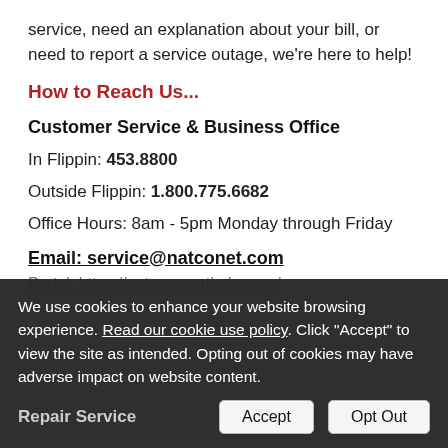service, need an explanation about your bill, or need to report a service outage, we're here to help!
How to Reach Us...
Customer Service & Business Office
In Flippin: 453.8800
Outside Flippin: 1.800.775.6682
Office Hours: 8am - 5pm Monday through Friday
Email: service@natconet.com
Portal: https://natco.smarthub.coop/
Repair Service
We use cookies to enhance your website browsing experience. Read our cookie use policy. Click "Accept" to view the site as intended. Opting out of cookies may have adverse impact on website content.